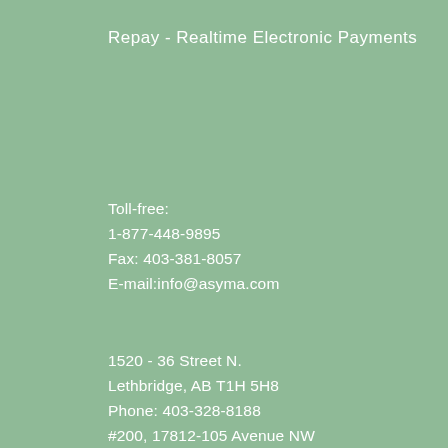Repay - Realtime Electronic Payments
Toll-free:
1-877-448-9895
Fax: 403-381-8057
E-mail:info@asyma.com
1520 - 36 Street N.
Lethbridge, AB T1H 5H8
Phone: 403-328-8188
#200, 17812-105 Avenue NW
Edmonton, AB T5S 2H5
Phone: 780-448-9895
1700 Varsity Estates Drive NW Calgary, AB T3B 2W9